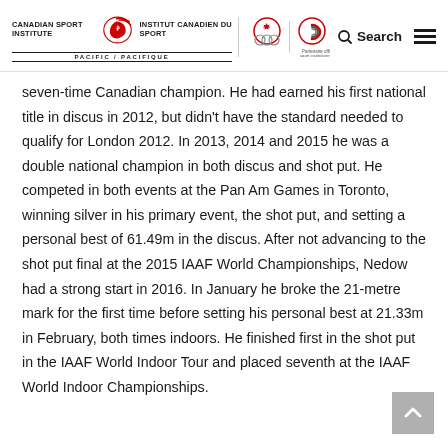Canadian Sport Institute | Institut Canadien du Sport — PACIFIC/PACIFIQUE — [Olympic and Paralympic logos] [Search] [Menu]
seven-time Canadian champion. He had earned his first national title in discus in 2012, but didn't have the standard needed to qualify for London 2012. In 2013, 2014 and 2015 he was a double national champion in both discus and shot put. He competed in both events at the Pan Am Games in Toronto, winning silver in his primary event, the shot put, and setting a personal best of 61.49m in the discus. After not advancing to the shot put final at the 2015 IAAF World Championships, Nedow had a strong start in 2016. In January he broke the 21-metre mark for the first time before setting his personal best at 21.33m in February, both times indoors. He finished first in the shot put in the IAAF World Indoor Tour and placed seventh at the IAAF World Indoor Championships.